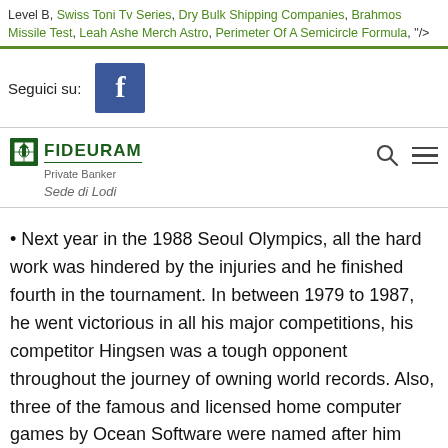Level B, Swiss Toni Tv Series, Dry Bulk Shipping Companies, Brahmos Missile Test, Leah Ashe Merch Astro, Perimeter Of A Semicircle Formula, "/>
Seguici su:
[Figure (logo): Facebook logo icon — white 'f' on dark blue square background]
[Figure (logo): Fideuram Private Banker logo with green compass-like icon and green bold text 'FIDEURAM', subtitle 'Private Banker', italic text 'Sede di Lodi' below]
Next year in the 1988 Seoul Olympics, all the hard work was hindered by the injuries and he finished fourth in the tournament. In between 1979 to 1987, he went victorious in all his major competitions, his competitor Hingsen was a tough opponent throughout the journey of owning world records. Also, three of the famous and licensed home computer games by Ocean Software were named after him including Daley Thompson's Decathlon, Daley Thompson's